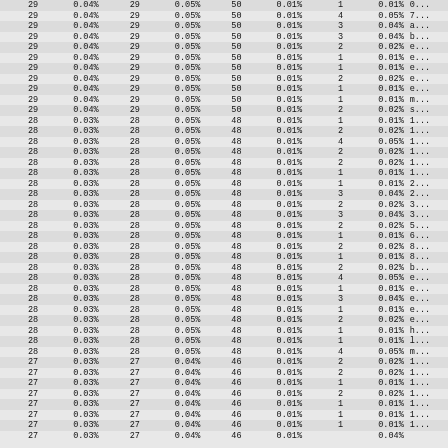| Col1 | Col2 | Col3 | Col4 | Col5 | Col6 | Col7 | Col8 | Col9 |
| --- | --- | --- | --- | --- | --- | --- | --- | --- |
| 29 | 0.04% | 29 | 0.05% | 50 | 0.01% | 1 | 0.01% | 0... |
| 29 | 0.04% | 29 | 0.05% | 50 | 0.01% | 4 | 0.05% | 7... |
| 29 | 0.04% | 29 | 0.05% | 50 | 0.01% | 3 | 0.04% | a... |
| 29 | 0.04% | 29 | 0.05% | 50 | 0.01% | 3 | 0.04% | b... |
| 29 | 0.04% | 29 | 0.05% | 50 | 0.01% | 2 | 0.02% | e... |
| 29 | 0.04% | 29 | 0.05% | 50 | 0.01% | 1 | 0.01% | e... |
| 29 | 0.04% | 29 | 0.05% | 50 | 0.01% | 1 | 0.01% | e... |
| 29 | 0.04% | 29 | 0.05% | 50 | 0.01% | 2 | 0.02% | e... |
| 29 | 0.04% | 29 | 0.05% | 50 | 0.01% | 1 | 0.01% | e... |
| 29 | 0.04% | 29 | 0.05% | 50 | 0.01% | 1 | 0.01% | m... |
| 29 | 0.04% | 29 | 0.05% | 50 | 0.01% | 2 | 0.02% | s... |
| 28 | 0.03% | 28 | 0.05% | 48 | 0.01% | 1 | 0.01% | 1... |
| 28 | 0.03% | 28 | 0.05% | 48 | 0.01% | 2 | 0.02% | 1... |
| 28 | 0.03% | 28 | 0.05% | 48 | 0.01% | 4 | 0.05% | 1... |
| 28 | 0.03% | 28 | 0.05% | 48 | 0.01% | 2 | 0.02% | 1... |
| 28 | 0.03% | 28 | 0.05% | 48 | 0.01% | 2 | 0.02% | 1... |
| 28 | 0.03% | 28 | 0.05% | 48 | 0.01% | 1 | 0.01% | 1... |
| 28 | 0.03% | 28 | 0.05% | 48 | 0.01% | 1 | 0.01% | 2... |
| 28 | 0.03% | 28 | 0.05% | 48 | 0.01% | 3 | 0.04% | 2... |
| 28 | 0.03% | 28 | 0.05% | 48 | 0.01% | 2 | 0.02% | 3... |
| 28 | 0.03% | 28 | 0.05% | 48 | 0.01% | 3 | 0.04% | 3... |
| 28 | 0.03% | 28 | 0.05% | 48 | 0.01% | 2 | 0.02% | 5... |
| 28 | 0.03% | 28 | 0.05% | 48 | 0.01% | 1 | 0.01% | 6... |
| 28 | 0.03% | 28 | 0.05% | 48 | 0.01% | 2 | 0.02% | 8... |
| 28 | 0.03% | 28 | 0.05% | 48 | 0.01% | 1 | 0.01% | 8... |
| 28 | 0.03% | 28 | 0.05% | 48 | 0.01% | 2 | 0.02% | b... |
| 28 | 0.03% | 28 | 0.05% | 48 | 0.01% | 4 | 0.05% | e... |
| 28 | 0.03% | 28 | 0.05% | 48 | 0.01% | 1 | 0.01% | e... |
| 28 | 0.03% | 28 | 0.05% | 48 | 0.01% | 3 | 0.04% | e... |
| 28 | 0.03% | 28 | 0.05% | 48 | 0.01% | 1 | 0.01% | e... |
| 28 | 0.03% | 28 | 0.05% | 48 | 0.01% | 2 | 0.02% | e... |
| 28 | 0.03% | 28 | 0.05% | 48 | 0.01% | 1 | 0.01% | h... |
| 28 | 0.03% | 28 | 0.05% | 48 | 0.01% | 1 | 0.01% | l... |
| 28 | 0.03% | 28 | 0.05% | 48 | 0.01% | 4 | 0.05% | m... |
| 27 | 0.03% | 27 | 0.04% | 46 | 0.01% | 2 | 0.02% | 1... |
| 27 | 0.03% | 27 | 0.04% | 46 | 0.01% | 2 | 0.02% | 1... |
| 27 | 0.03% | 27 | 0.04% | 46 | 0.01% | 1 | 0.01% | 1... |
| 27 | 0.03% | 27 | 0.04% | 46 | 0.01% | 2 | 0.02% | 1... |
| 27 | 0.03% | 27 | 0.04% | 46 | 0.01% | 1 | 0.01% | 1... |
| 27 | 0.03% | 27 | 0.04% | 46 | 0.01% | 1 | 0.01% | 1... |
| 27 | 0.03% | 27 | 0.04% | 46 | 0.01% | 1 | 0.01% | 1... |
| 27 | 0.03% | 27 | 0.04% | 46 | 0.01% |  | 0.04% |  |